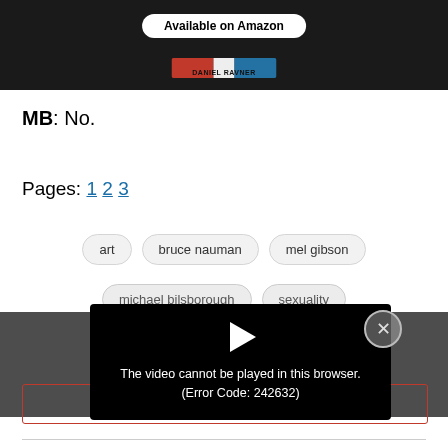[Figure (screenshot): Book product image on dark background with 'Available on Amazon' badge and a book with red-white-blue spine label reading DANIEL RAVNER]
MB: No.
Pages: 1 2 3
art  bruce nauman  mel gibson
michael bilsborough  sexuality
[Figure (screenshot): Video error modal overlay: play arrow icon, text 'The video cannot be played in this browser. (Error Code: 242632)', X close button]
The video cannot be played in this browser. (Error Code: 242632)